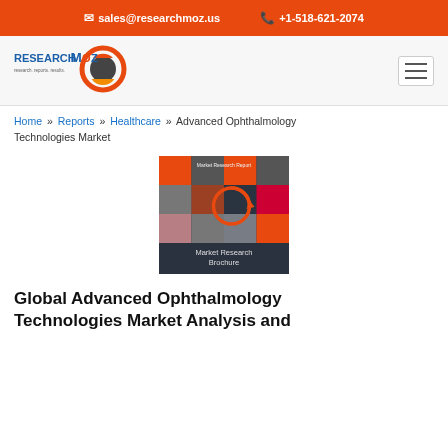sales@researchmoz.us  +1-518-621-2074
[Figure (logo): ResearchMoz logo with orange/red circular graphic and text 'research. reports. results.']
Home » Reports » Healthcare » Advanced Ophthalmology Technologies Market
[Figure (illustration): Market Research Brochure cover image with dark and red checkerboard pattern and a circular arrow symbol]
Global Advanced Ophthalmology Technologies Market Analysis and